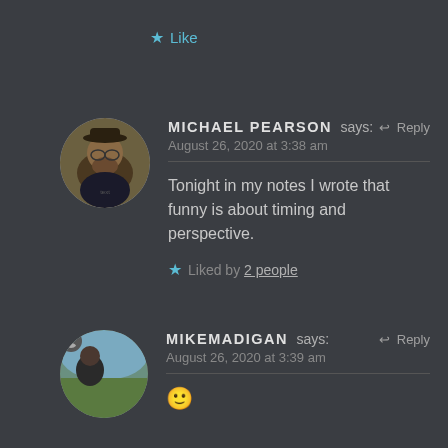★ Like
MICHAEL PEARSON says:   ↩ Reply
August 26, 2020 at 3:38 am
Tonight in my notes I wrote that funny is about timing and perspective.
★ Liked by 2 people
MIKEMADIGAN says:   ↩ Reply
August 26, 2020 at 3:39 am
🙂